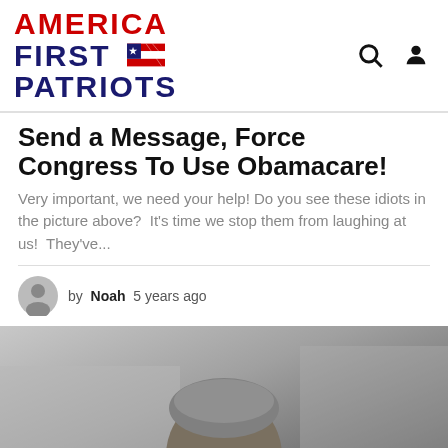AMERICA FIRST PATRIOTS
Send a Message, Force Congress To Use Obamacare!
Very important, we need your help! Do you see these idiots in the picture above?  It's time we stop them from laughing at us!  They've...
by Noah 5 years ago
[Figure (photo): Close-up photograph of a person wearing dark sunglasses, with grey hair, photographed outdoors with a blurred background.]